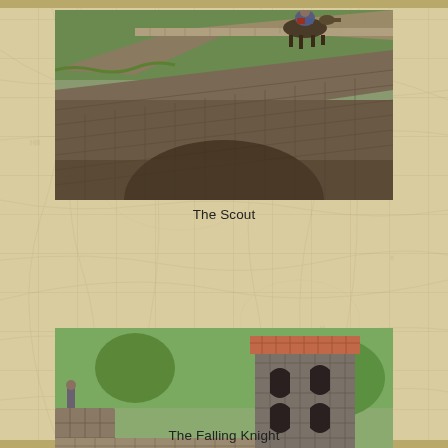[Figure (photo): Close-up photo of a painted miniature figure of a scout/horseman on a stone bridge terrain piece. The bridge shows detailed stonework texture. A miniature in armor with red accents is visible at the top of the bridge.]
The Scout
[Figure (photo): Photo of a painted miniature terrain piece showing a medieval stone church tower with arched windows and terracotta tile roof, along with a walled enclosure containing small animal miniatures (pigs). Green foliage terrain visible in the background.]
The Falling Knight